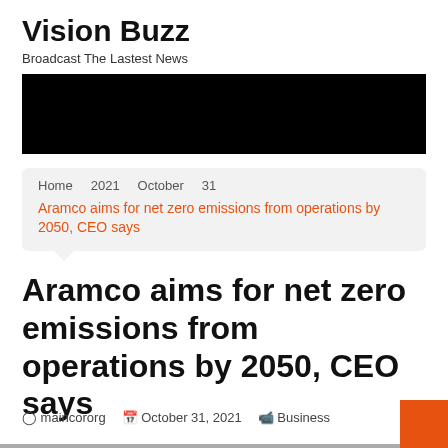Vision Buzz
Broadcast The Lastest News
[Figure (other): Black banner/advertisement image]
Home  2021  October  31
Aramco aims for net zero emissions from operations by 2050, CEO says
Aramco aims for net zero emissions from operations by 2050, CEO says
maincororg  October 31, 2021  Business